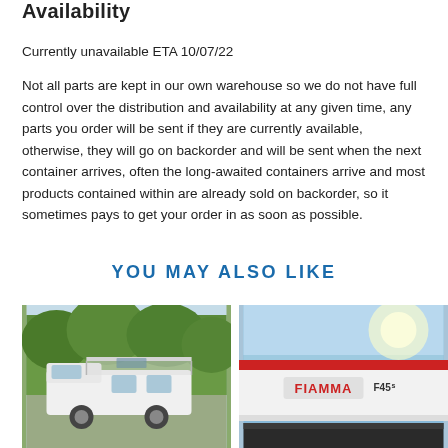Availability
Currently unavailable ETA 10/07/22
Not all parts are kept in our own warehouse so we do not have full control over the distribution and availability at any given time, any parts you order will be sent if they are currently available, otherwise, they will go on backorder and will be sent when the next container arrives, often the long-awaited containers arrive and most products contained within are already sold on backorder, so it sometimes pays to get your order in as soon as possible.
YOU MAY ALSO LIKE
[Figure (photo): A white campervan/motorhome with an awning extended, parked in front of green trees.]
[Figure (photo): Close-up of a white Fiamma F45 awning against a blue sky.]